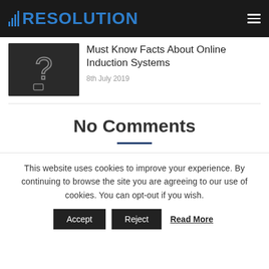RESOLUTION
[Figure (photo): Dark chalkboard image with a question mark drawn on it]
Must Know Facts About Online Induction Systems
8th July 2019
No Comments
This website uses cookies to improve your experience. By continuing to browse the site you are agreeing to our use of cookies. You can opt-out if you wish.
Accept  Reject  Read More